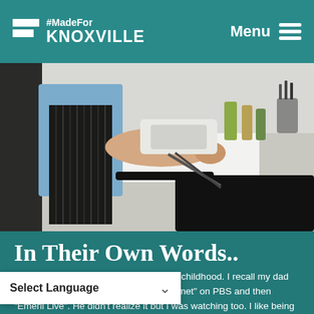#MadeFor KNOXVILLE  Menu
[Figure (photo): A person wearing a striped apron cooking salmon in a pan on a stovetop in a kitchen. The person is using tongs to cook two pieces of salmon. There are condiment bottles and kitchen utensils in the background.]
In Their Own Words..
My culinary roots can be traced back to childhood. I recall my dad watching Jeff Smith's "The Frugal Gourmet" on PBS and then "Emeril Live". He didn't realize it but I was watching too. I like being educated, I